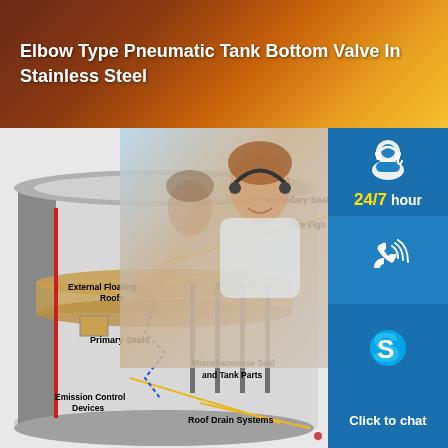Elbow Type Pneumatic Tank Bottom Valve In Stainless Steel
[Figure (engineering-diagram): 3D cutaway diagram of an external floating roof storage tank showing labeled components: Secondary Seals, External Floating Roofs, Fire Fighting system, Primary Seals, Miscellaneouse Seal and Tank Parts, Emission Control Devices, Roof Drain Systems]
[Figure (infographic): Support sidebar showing 24/7 hour support icons: headset icon (blue), phone icon (blue), Skype logo icon (blue), and Click to chat button with customer service photo]